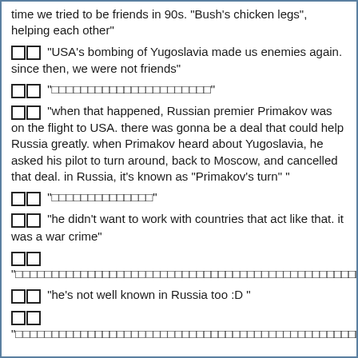time we tried to be friends in 90s. "Bush's chicken legs", helping each other"
□□ "USA's bombing of Yugoslavia made us enemies again. since then, we were not friends"
□□ "□□□□□□□□□□□□□□□"
□□ "when that happened, Russian premier Primakov was on the flight to USA. there was gonna be a deal that could help Russia greatly. when Primakov heard about Yugoslavia, he asked his pilot to turn around, back to Moscow, and cancelled that deal. in Russia, it's known as "Primakov's turn" "
□□ "□□□□□□□□□□"
□□ "he didn't want to work with countries that act like that. it was a war crime"
□□ "□□□□□□□□□□□□□□□□□□□□□□□□□□□□□□□□□□□□□□□□□□"
□□ "he's not well known in Russia too :D "
□□ "□□□□□□□□□□□□□□□□□□□□□□□□□□□□□□□□□□□□□□□□□□□□□